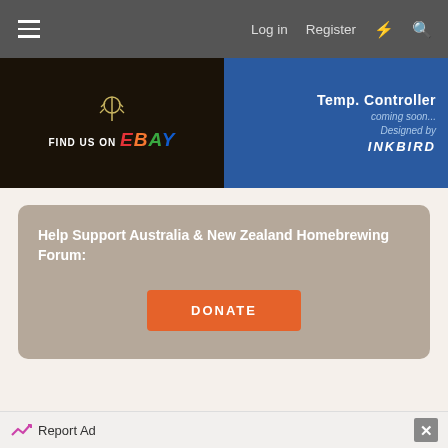Log in  Register
[Figure (screenshot): Two advertisement banners side by side: left shows 'FIND US ON ebay' on dark background, right shows 'Temp. Controller coming soon... Designed by INKBIRD' on blue background]
Help Support Australia & New Zealand Homebrewing Forum:
DONATE
Report Ad